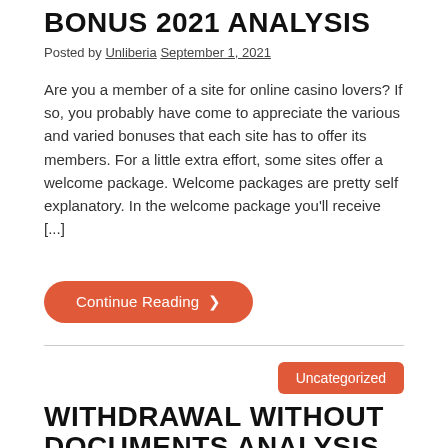BONUS 2021 ANALYSIS
Posted by Unliberia September 1, 2021
Are you a member of a site for online casino lovers? If so, you probably have come to appreciate the various and varied bonuses that each site has to offer its members. For a little extra effort, some sites offer a welcome package. Welcome packages are pretty self explanatory. In the welcome package you'll receive [...]
Continue Reading ❯
Uncategorized
WITHDRAWAL WITHOUT DOCUMENTS ANALYSIS
Posted by Unliberia September 1, 2021